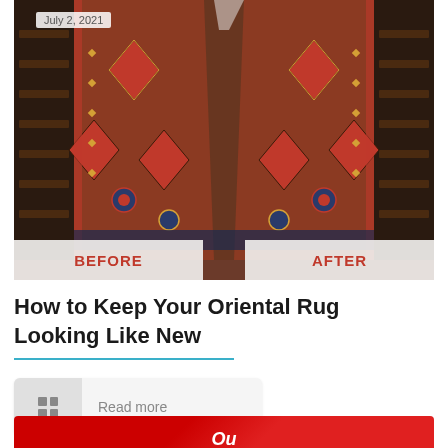[Figure (photo): Before and after comparison photo of an oriental rug cleaning. The rug has intricate red, blue, and gold patterns. A 'Before' label appears on the left side and 'After' on the right side at the bottom of the image. Date badge reads July 2, 2021.]
How to Keep Your Oriental Rug Looking Like New
Read more
[Figure (photo): Partially visible bottom image with red background, appears to be another article thumbnail]